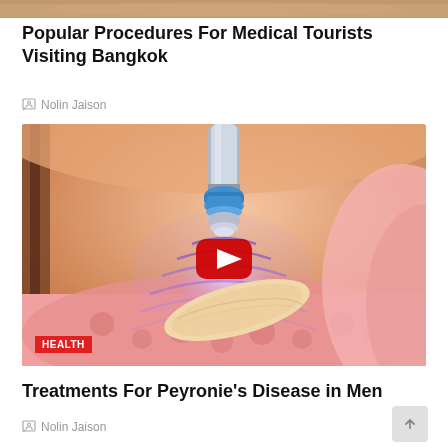[Figure (illustration): Top strip showing partial image from previous article - skin-toned background]
Popular Procedures For Medical Tourists Visiting Bangkok
Nolin Jaison
[Figure (illustration): Medical illustration showing an ultrasound or shockwave therapy device (metallic probe with blue collar) emitting purple wave patterns toward curved anatomical tissue. YouTube play button overlay in center. HEALTH badge in bottom-left corner.]
Treatments For Peyronie's Disease in Men
Nolin Jaison